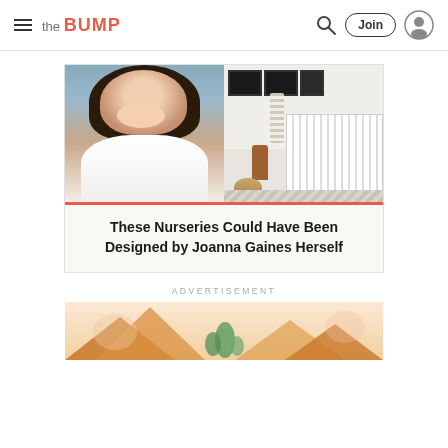the BUMP — navigation header with hamburger menu, logo, search, Join button, and user icon
[Figure (photo): Two-panel image: left panel shows a smiling woman with long dark hair wearing a white top; right panel shows a farmhouse-style nursery with a white crib, macramé wall hanging, wooden side table, and woven basket on a patterned rug.]
These Nurseries Could Have Been Designed by Joanna Gaines Herself
ADVERTISEMENT
[Figure (illustration): Colorful illustrated advertisement banner with mountains, plants, and warm pastel tones.]